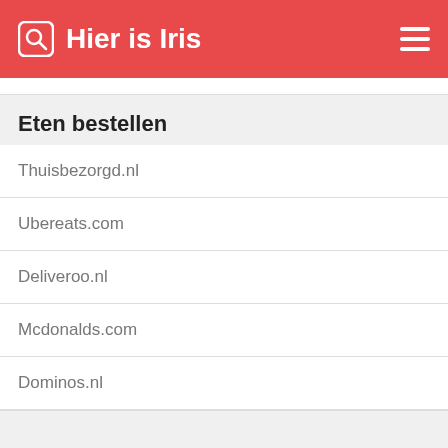Hier is Iris
Eten bestellen
Thuisbezorgd.nl
Ubereats.com
Deliveroo.nl
Mcdonalds.com
Dominos.nl